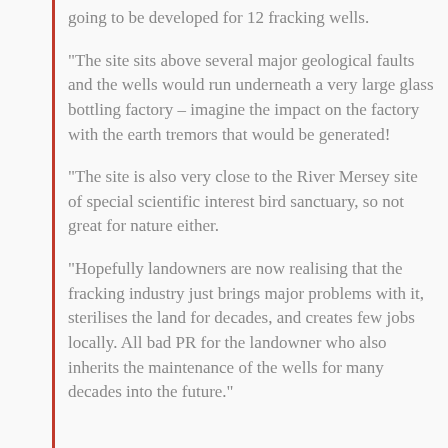going to be developed for 12 fracking wells.
“The site sits above several major geological faults and the wells would run underneath a very large glass bottling factory – imagine the impact on the factory with the earth tremors that would be generated!
“The site is also very close to the River Mersey site of special scientific interest bird sanctuary, so not great for nature either.
“Hopefully landowners are now realising that the fracking industry just brings major problems with it, sterilises the land for decades, and creates few jobs locally. All bad PR for the landowner who also inherits the maintenance of the wells for many decades into the future.”